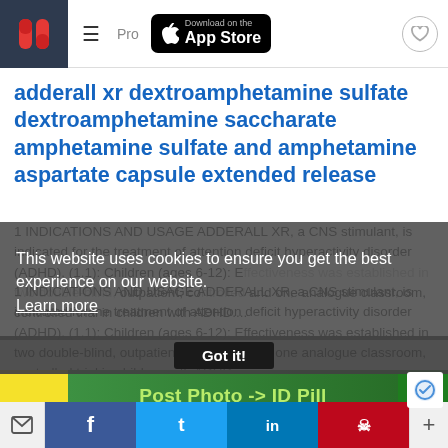≡ Pro [App Store button] ♡
adderall xr dextroamphetamine sulfate dextroamphetamine saccharate amphetamine sulfate and amphetamine aspartate capsule extended release
1 INDICATIONS AND USAGE ADDERALL XR, a CNS stimulant, is indicated for the treatment of attention deficit hyperactivity disorder (ADHD). (1.1): Children (ages 6-12): Effectiveness was established in two double-blind, outpatient, controlled and one analogue classroom, controlled trial in children with ADHD....
This website uses cookies to ensure you get the best experience on our website.
Learn more
Got it!
Post Photo -> ID Pill
✉ f t in ⓟ +